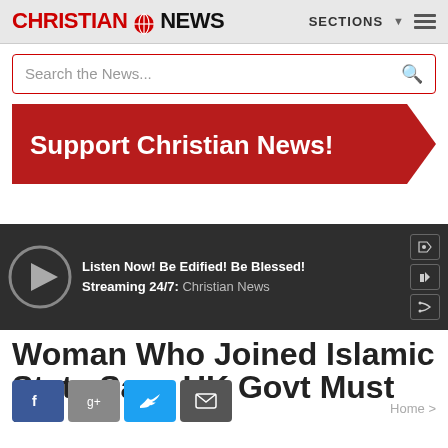CHRISTIAN NEWS — SECTIONS
Search the News...
[Figure (infographic): Support Christian News! red banner with chevron arrow pointing right]
[Figure (screenshot): Audio player bar — Listen Now! Be Edified! Be Blessed! Streaming 24/7: Christian News, with play button and social share icons]
Woman Who Joined Islamic State Says UK Govt Must be
Home >